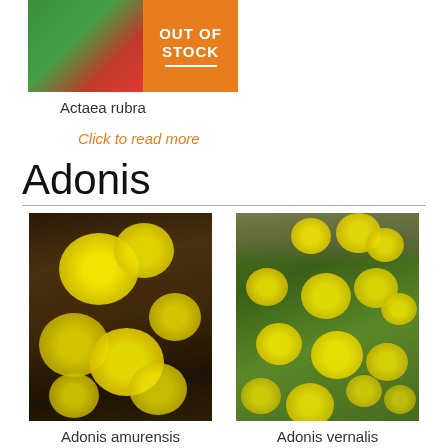[Figure (photo): Actaea rubra plant with out-of-stock badge overlay on orange background]
Actaea rubra
Click to read more
Adonis
[Figure (photo): Adonis amurensis - yellow flowers close-up]
Adonis amurensis
Click to read more
[Figure (photo): Adonis vernalis - yellow flowers spread across green foliage]
Adonis vernalis
Click to read more